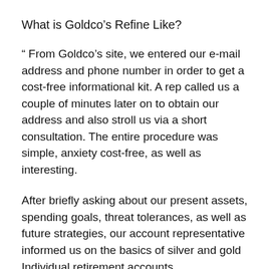What is Goldco’s Refine Like?
“ From Goldco’s site, we entered our e-mail address and phone number in order to get a cost-free informational kit. A rep called us a couple of minutes later on to obtain our address and also stroll us via a short consultation. The entire procedure was simple, anxiety cost-free, as well as interesting.
After briefly asking about our present assets, spending goals, threat tolerances, as well as future strategies, our account representative informed us on the basics of silver and gold Individual retirement accounts.